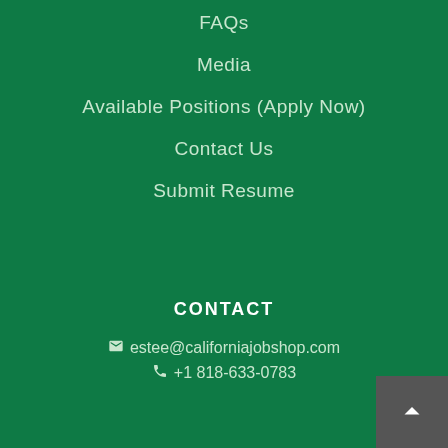FAQs
Media
Available Positions (Apply Now)
Contact Us
Submit Resume
CONTACT
✉ estee@californiajobshop.com
✆ +1 818-633-0783